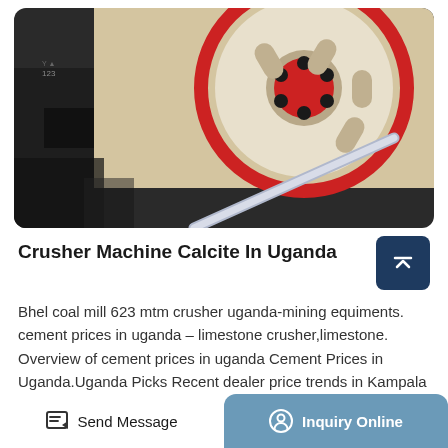[Figure (photo): Industrial crusher machine with a large wheel/pulley with red rim and white spokes, mounted on dark metal machinery, with a metal pipe/rod in the foreground]
Crusher Machine Calcite In Uganda
Bhel coal mill 623 mtm crusher uganda-mining equiments. cement prices in uganda – limestone crusher,limestone. Overview of cement prices in uganda Cement Prices in Uganda.Uganda Picks Recent dealer price trends in Kampala Uganda show that the price of cement fell from sh27,090 for 50kg bag in August last year, to sh22,200 in
Send Message    Inquiry Online